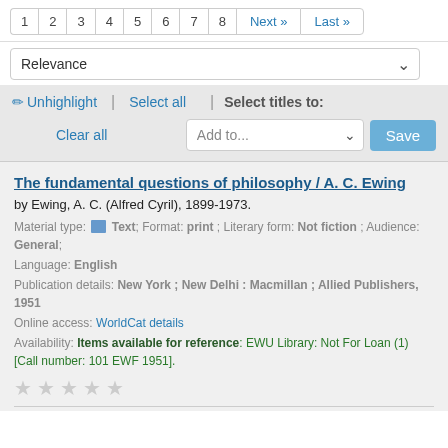1 2 3 4 5 6 7 8 Next » Last »
Relevance
✏ Unhighlight | Select all | Select titles to: Add to... Save | Clear all
The fundamental questions of philosophy / A. C. Ewing
by Ewing, A. C. (Alfred Cyril), 1899-1973.
Material type: Text; Format: print ; Literary form: Not fiction ; Audience: General;
Language: English
Publication details: New York ; New Delhi : Macmillan ; Allied Publishers, 1951
Online access: WorldCat details
Availability: Items available for reference: EWU Library: Not For Loan (1) [Call number: 101 EWF 1951].